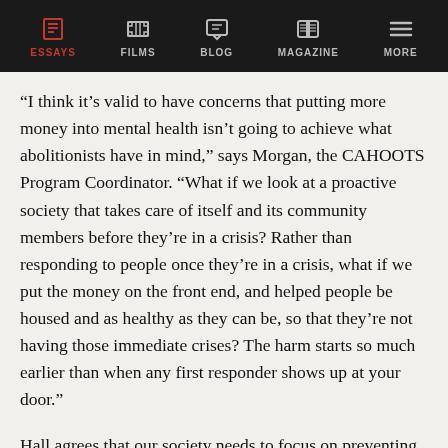ESSAYS | FILMS | BLOG | MAGAZINE | MORE
“I think it’s valid to have concerns that putting more money into mental health isn’t going to achieve what abolitionists have in mind,” says Morgan, the CAHOOTS Program Coordinator. “What if we look at a proactive society that takes care of itself and its community members before they’re in a crisis? Rather than responding to people once they’re in a crisis, what if we put the money on the front end, and helped people be housed and as healthy as they can be, so that they’re not having those immediate crises? The harm starts so much earlier than when any first responder shows up at your door.”
Hall agrees that our society needs to focus on preventing trauma in the first place, rather than just treating it. “It’s about changing the political, economic and social realities,” he says. “Healthy communities are what create mental health.” The way to create such an environment, he